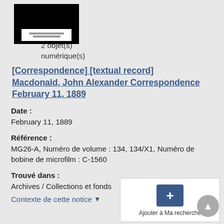[Figure (photo): Thumbnail image of a document with black background and white label reading PUBLIC ARCHIVES COLLECTION]
2 objet(s) numérique(s)
[Correspondence] [textual record] Macdonald, John Alexander Correspondence February 11, 1889
Date :
February 11, 1889
Référence :
MG26-A, Numéro de volume : 134, 134/X1, Numéro de bobine de microfilm : C-1560
Trouvé dans :
Archives / Collections et fonds
Contexte de cette notice ▼
Ajouter à Ma recherche